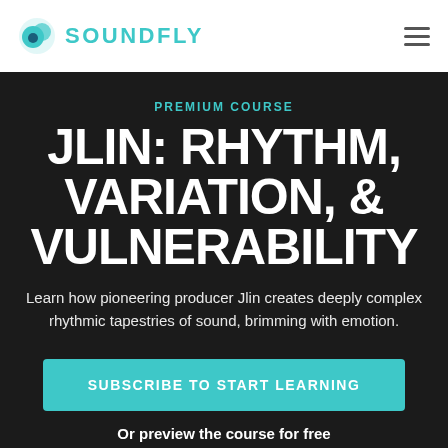SOUNDFLY
PREMIUM COURSE
JLIN: RHYTHM, VARIATION, & VULNERABILITY
Learn how pioneering producer Jlin creates deeply complex rhythmic tapestries of sound, brimming with emotion.
SUBSCRIBE TO START LEARNING
Or preview the course for free